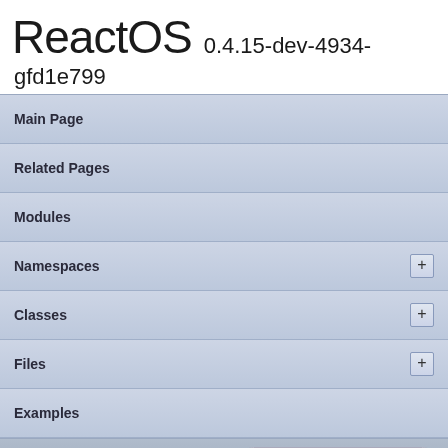ReactOS 0.4.15-dev-4934-gfd1e799
Main Page
Related Pages
Modules
Namespaces
Classes
Files
Examples
ReactOS
Implementation Notes
dialog.c
dll  win32  msi  dialog.c